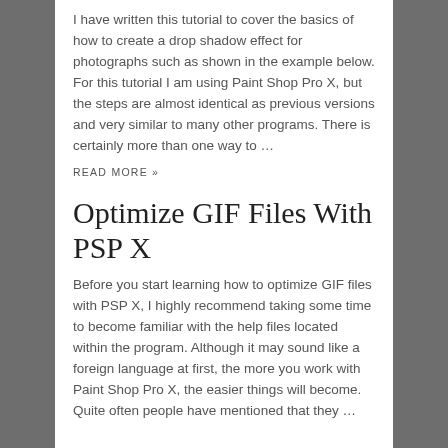I have written this tutorial to cover the basics of how to create a drop shadow effect for photographs such as shown in the example below. For this tutorial I am using Paint Shop Pro X, but the steps are almost identical as previous versions and very similar to many other programs. There is certainly more than one way to …
READ MORE »
Optimize GIF Files With PSP X
Before you start learning how to optimize GIF files with PSP X, I highly recommend taking some time to become familiar with the help files located within the program. Although it may sound like a foreign language at first, the more you work with Paint Shop Pro X, the easier things will become. Quite often people have mentioned that they …